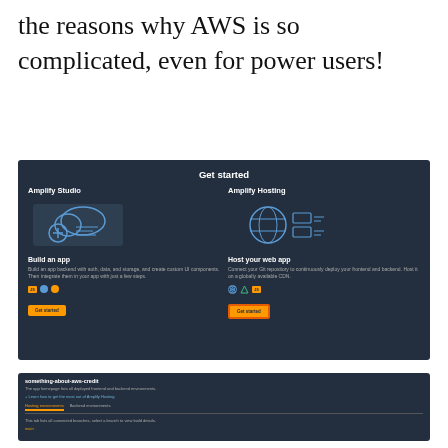the reasons why AWS is so complicated, even for power users!
[Figure (screenshot): AWS Amplify 'Get started' page with two columns: Amplify Studio (Build an app) and Amplify Hosting (Host your web app), both with orange 'Get started' buttons on a dark background]
[Figure (screenshot): AWS Amplify hosting app detail page showing 'something-about-aws-credit' with Hosting environments and Backend environments tabs, and a 'main' branch link]